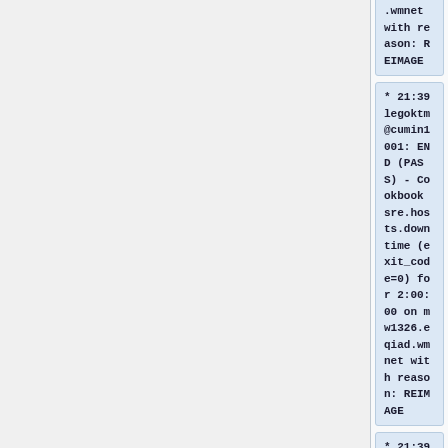.wmnet with reason: REIMAGE
* 21:39 legoktm@cumin1001: END (PASS) - Cookbook sre.hosts.downtime (exit_code=0) for 2:00:00 on mw1326.eqiad.wmnet with reason: REIMAGE
* 21:39 legoktm@cumin1001: